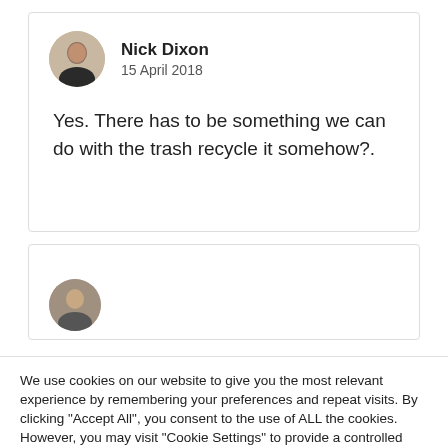Nick Dixon
15 April 2018
Yes. There has to be something we can do with the trash recycle it somehow?.
We use cookies on our website to give you the most relevant experience by remembering your preferences and repeat visits. By clicking "Accept All", you consent to the use of ALL the cookies. However, you may visit "Cookie Settings" to provide a controlled consent.
Cookie Settings
Accept All